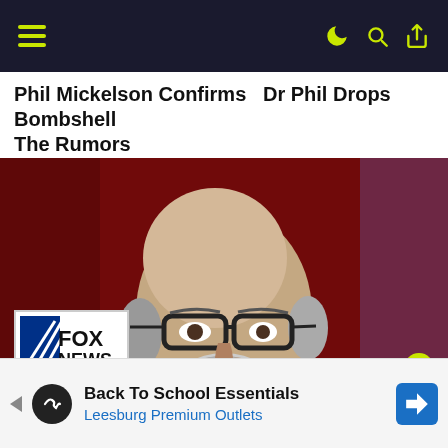Navigation header bar with menu, dark/light toggle, search, and share icons
Phil Mickelson Confirms The Rumors   Dr Phil Drops Bombshell
[Figure (photo): Middle-aged bald man with gray stubble beard wearing black-framed glasses and a dark suit with light blue shirt, photographed against a red blurred background with a Fox News Channel logo overlay in the bottom-left corner]
Back To School Essentials
Leesburg Premium Outlets